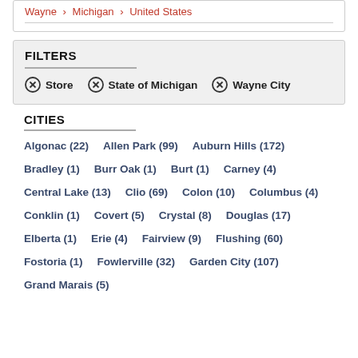Wayne > Michigan > United States
FILTERS
⊗ Store
⊗ State of Michigan
⊗ Wayne City
CITIES
Algonac (22)
Allen Park (99)
Auburn Hills (172)
Bradley (1)
Burr Oak (1)
Burt (1)
Carney (4)
Central Lake (13)
Clio (69)
Colon (10)
Columbus (4)
Conklin (1)
Covert (5)
Crystal (8)
Douglas (17)
Elberta (1)
Erie (4)
Fairview (9)
Flushing (60)
Fostoria (1)
Fowlerville (32)
Garden City (107)
Grand Marais (5)